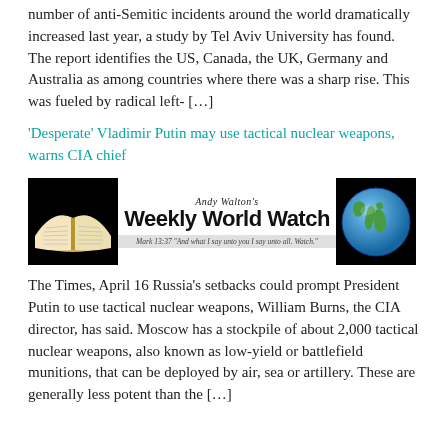number of anti-Semitic incidents around the world dramatically increased last year, a study by Tel Aviv University has found. The report identifies the US, Canada, the UK, Germany and Australia as among countries where there was a sharp rise. This was fueled by radical left- […]
'Desperate' Vladimir Putin may use tactical nuclear weapons, warns CIA chief
[Figure (illustration): Andy Walton's Weekly World Watch banner with an open Bible image on the left, the text 'Andy Walton's Weekly World Watch' in the center with the subtitle 'Mark 13:37 And what I say unto you I say unto all. Watch.', and a globe image on the right.]
The Times, April 16 Russia's setbacks could prompt President Putin to use tactical nuclear weapons, William Burns, the CIA director, has said. Moscow has a stockpile of about 2,000 tactical nuclear weapons, also known as low-yield or battlefield munitions, that can be deployed by air, sea or artillery. These are generally less potent than the […]